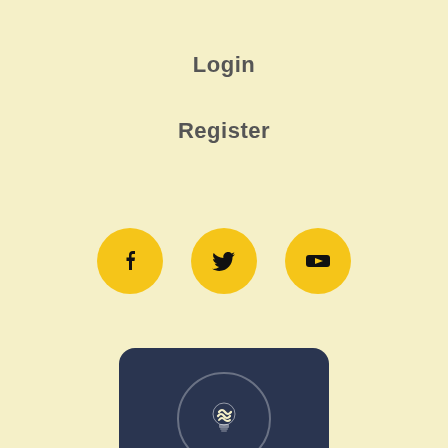Login
Register
[Figure (illustration): Three yellow circular social media icon buttons: Facebook, Twitter, YouTube]
[Figure (illustration): Dark navy card with a circular lightbulb icon, text 'Website built by' and 'Click to get in touch']